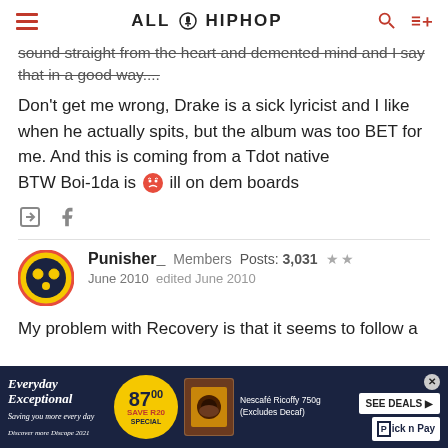ALL HIP HOP
sound straight from the heart and demented mind and I say that in a good way....
Don't get me wrong, Drake is a sick lyricist and I like when he actually spits, but the album was too BET for me. And this is coming from a Tdot native BTW Boi-1da is [emoji] ill on dem boards
Punisher_  Members  Posts: 3,031  ★★
June 2010  edited June 2010
My problem with Recovery is that it seems to follow a
[Figure (infographic): PicknPay advertisement banner with 'Everyday Exceptional' text, price badge showing 87.00, product image, and SEE DEALS button]